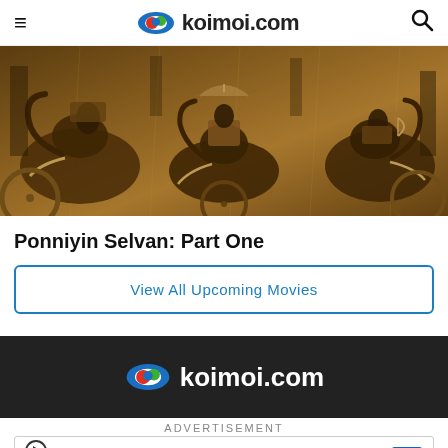≡ koimoi.com 🔍
[Figure (illustration): Sepia-toned epic battle scene with war elephants, chariots, warriors and ancient architecture from Ponniyin Selvan Part One]
Ponniyin Selvan: Part One
View All Upcoming Movies
[Figure (logo): koimoi.com logo on dark background footer]
ADVERTISEMENT
Dulles OPEN | 10AM–8PM 45575 Dulles Eastern Plaza, Suite 171, D